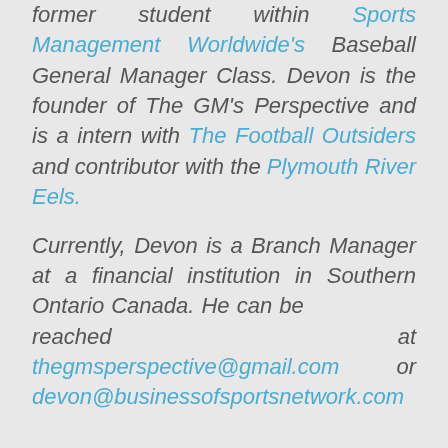former student within Sports Management Worldwide's Baseball General Manager Class. Devon is the founder of The GM's Perspective and is a intern with The Football Outsiders and contributor with the Plymouth River Eels.
Currently, Devon is a Branch Manager at a financial institution in Southern Ontario Canada. He can be reached at thegmsperspective@gmail.com or devon@businessofsportsnetwork.com